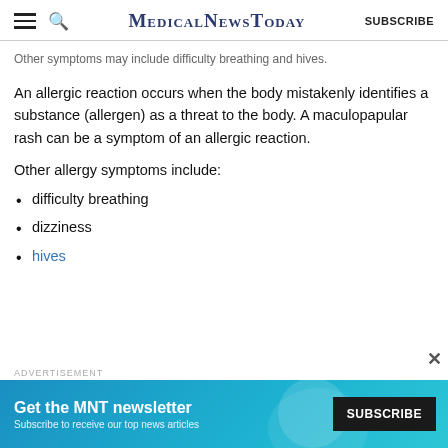MedicalNewsToday SUBSCRIBE
Other symptoms may include difficulty breathing and hives.
An allergic reaction occurs when the body mistakenly identifies a substance (allergen) as a threat to the body. A maculopapular rash can be a symptom of an allergic reaction.
Other allergy symptoms include:
difficulty breathing
dizziness
hives
[Figure (infographic): Advertisement banner: Get the MNT newsletter. Subscribe to receive our top news articles. Blue/teal background with SUBSCRIBE button.]